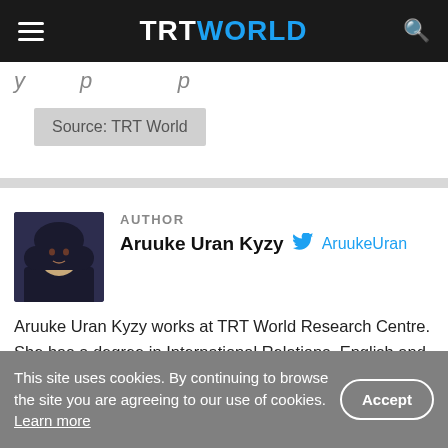TRT WORLD
Source: TRT World
AUTHOR
Aruuke Uran Kyzy @AruukeUran
Aruuke Uran Kyzy works at TRT World Research Centre. She has a degree in International Relations, English and Literature from Istanbul University. Her current area of focus is Russian and Central Asian studies.
This site uses cookies. By continuing to browse the site you are agreeing to our use of cookies. Learn more